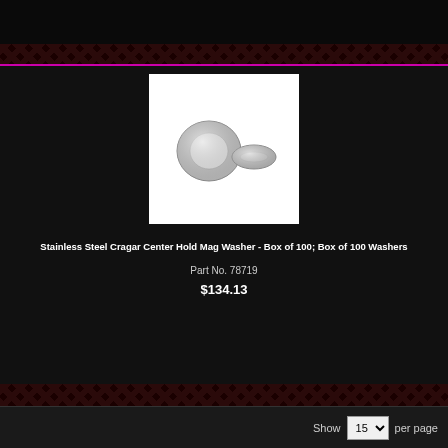[Figure (photo): Two stainless steel washers on white background — one thick ring washer and one flat washer]
Stainless Steel Cragar Center Hold Mag Washer - Box of 100; Box of 100 Washers
Part No. 78719
$134.13
Show 15 per page